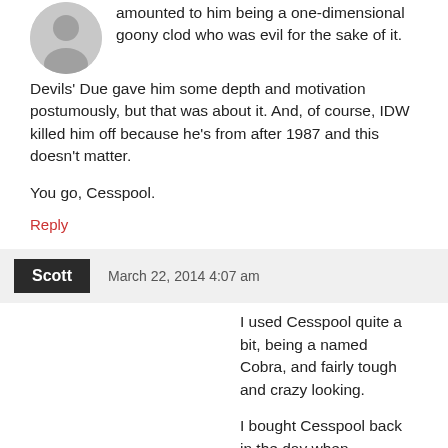[Figure (illustration): Gray circular avatar / user icon placeholder]
amounted to him being a one-dimensional goony clod who was evil for the sake of it. Devils' Due gave him some depth and motivation postumously, but that was about it. And, of course, IDW killed him off because he's from after 1987 and this doesn't matter.
You go, Cesspool.
Reply
Scott  March 22, 2014 4:07 am
I used Cesspool quite a bit, being a named Cobra, and fairly tough and crazy looking.
I bought Cesspool back in the day when Children's Palace was clearing out everything. By the time I got there, the more deluxe-priced figures such as Eco-Warriors were the bulk of what was left.